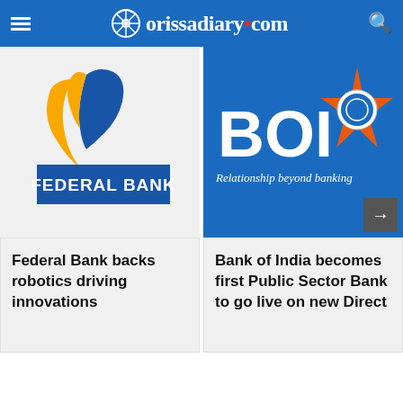orissadiary.com
[Figure (logo): Federal Bank logo — blue and yellow swoosh mark above 'FEDERAL BANK' text in white on blue rectangle]
Federal Bank backs robotics driving innovations
[Figure (logo): Bank of India logo — 'BOI' text in white with orange star and circular emblem, tagline 'Relationship beyond banking' on blue background]
Bank of India becomes first Public Sector Bank to go live on new Direct